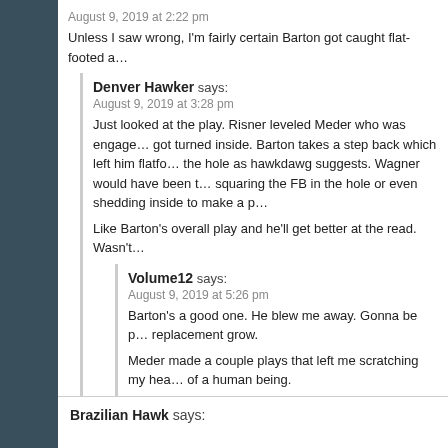August 9, 2019 at 2:22 pm
Unless I saw wrong, I'm fairly certain Barton got caught flat-footed a…
Denver Hawker says:
August 9, 2019 at 3:28 pm
Just looked at the play. Risner leveled Meder who was engaged… got turned inside. Barton takes a step back which left him flatfo… the hole as hawkdawg suggests. Wagner would have been t… squaring the FB in the hole or even shedding inside to make a p…
Like Barton's overall play and he'll get better at the read. Wasn't…
Volume12 says:
August 9, 2019 at 5:26 pm
Barton's a good one. He blew me away. Gonna be p… replacement grow.
Meder made a couple plays that left me scratching my hea… of a human being.
Brazilian Hawk says: